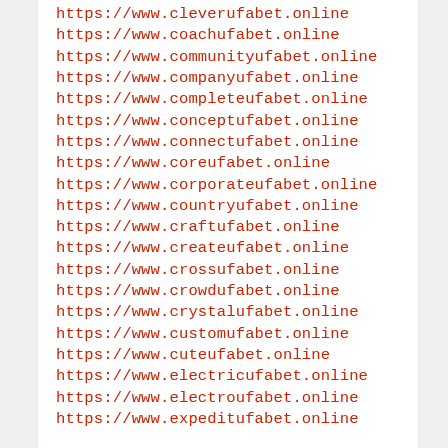https://www.cleverufabet.online
https://www.coachufabet.online
https://www.communityufabet.online
https://www.companyufabet.online
https://www.completeufabet.online
https://www.conceptufabet.online
https://www.connectufabet.online
https://www.coreufabet.online
https://www.corporateufabet.online
https://www.countryufabet.online
https://www.craftufabet.online
https://www.createufabet.online
https://www.crossufabet.online
https://www.crowdufabet.online
https://www.crystalufabet.online
https://www.customufabet.online
https://www.cuteufabet.online
https://www.electricufabet.online
https://www.electroufabet.online
https://www.expeditufabet.online